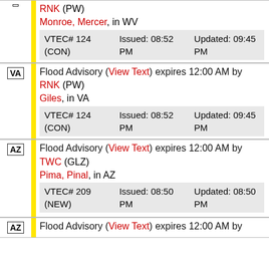Flood Advisory (View Text) expires 12:00 AM by RNK (PW) Monroe, Mercer, in WV VTEC# 124 (CON) Issued: 08:52 PM Updated: 09:45 PM
Flood Advisory (View Text) expires 12:00 AM by RNK (PW) Giles, in VA VTEC# 124 (CON) Issued: 08:52 PM Updated: 09:45 PM
Flood Advisory (View Text) expires 12:00 AM by TWC (GLZ) Pima, Pinal, in AZ VTEC# 209 (NEW) Issued: 08:50 PM Updated: 08:50 PM
Flood Advisory (View Text) expires 12:00 AM by